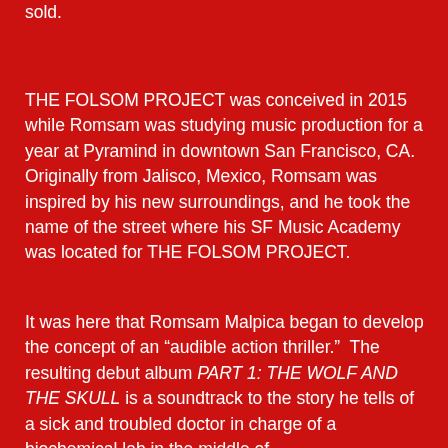sold.
THE FOLSOM PROJECT was conceived in 2015 while Romsam was studying music production for a year at Pyramind in downtown San Francisco, CA. Originally from Jalisco, Mexico, Romsam was inspired by his new surroundings, and he took the name of the street where his SF Music Academy was located for THE FOLSOM PROJECT.
It was here that Romsam Malpica began to develop the concept of an “audible action thriller.”  The resulting debut album PART 1: THE WOLF AND THE SKULL is a soundtrack to the story he tells of a sick and troubled doctor in charge of a biochemical lab in the middle of